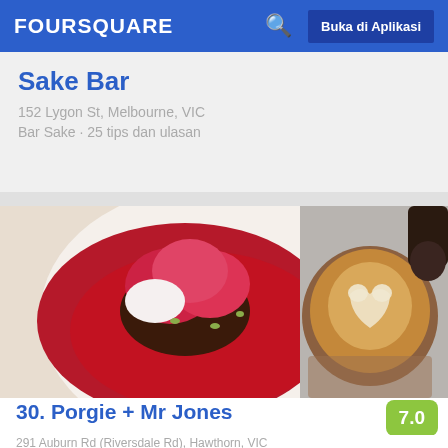FOURSQUARE   Buka di Aplikasi
Sake Bar
152 Lygon St, Melbourne, VIC
Bar Sake · 25 tips dan ulasan
[Figure (photo): Overhead food photo showing a dessert with red berry sauce on a white plate on the left, and a latte coffee in a glass cup with latte art on the right, on a white table surface.]
30. Porgie + Mr Jones
291 Auburn Rd (Riversdale Rd), Hawthorn, VIC
Kafe · 48 tips dan ulasan